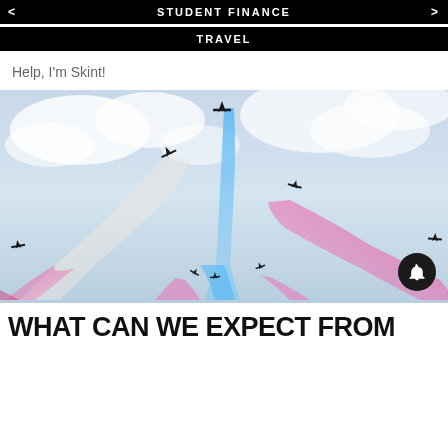STUDENT FINANCE
TRAVEL
Help, I'm Skint!
[Figure (photo): Red Arrows aerobatic display team flying in formation with red, white, blue and pink smoke trails against a cloudy sky]
WHAT CAN WE EXPECT FROM